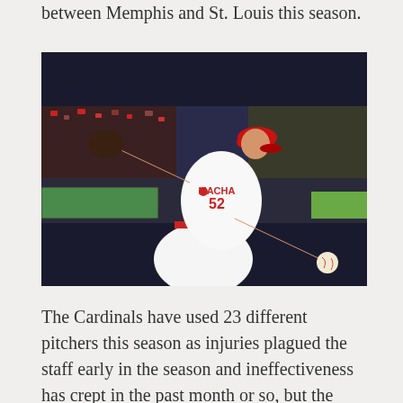between Memphis and St. Louis this season.
[Figure (photo): A baseball pitcher wearing a white Cardinals uniform with 'MACHA 52' on the back and a red cap, mid-pitch delivery in a nighttime stadium setting.]
The Cardinals have used 23 different pitchers this season as injuries plagued the staff early in the season and ineffectiveness has crept in the past month or so, but the game of musical chairs is about to end, thank goodness.
Major League Baseball allows teams to expand their